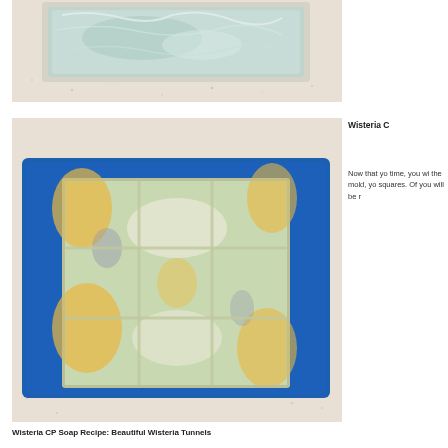[Figure (photo): Top-down view of soap in a rectangular plastic mold on a speckled countertop, showing a semi-transparent greenish soap]
Wisteria C
Now that yo time, you wi the mold, yo squares. Of you will be r
[Figure (photo): Unmolded block of soap divided into 9 squares (3x3 grid) with swirled yellow, white, and blue-grey colors, resting on a blue silicone mat on a speckled countertop]
Wisteria CP Soap Recipe: Beautiful Wisteria Tunnels